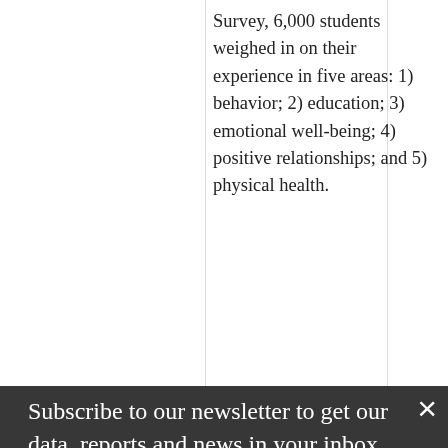Survey, 6,000 students weighed in on their experience in five areas: 1) behavior; 2) education; 3) emotional well-being; 4) positive relationships; and 5) physical health.
Subscribe to our newsletter to get our data, reports and news in your inbox.
LEARNING FROM EXPERIENCE
ENTER EMAIL ADDRESS
SELECT ROLE
y lessons we've copied from Providence? A just drive and sustain the Evidence2Success framework.
SUBSCRIBE ›